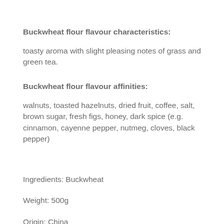Buckwheat flour flavour characteristics:
toasty aroma with slight pleasing notes of grass and green tea.
Buckwheat flour flavour affinities:
walnuts, toasted hazelnuts, dried fruit, coffee, salt, brown sugar, fresh figs, honey, dark spice (e.g. cinnamon, cayenne pepper, nutmeg, cloves, black pepper)
Ingredients: Buckwheat
Weight: 500g
Origin: China